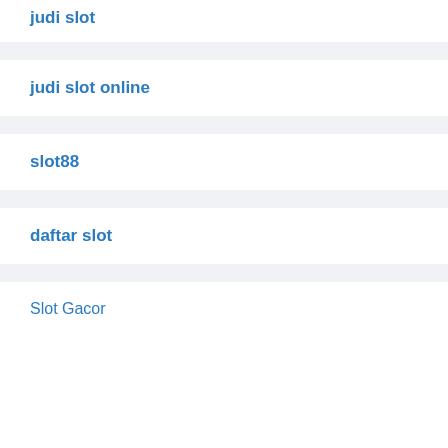judi slot
judi slot online
slot88
daftar slot
Slot Gacor